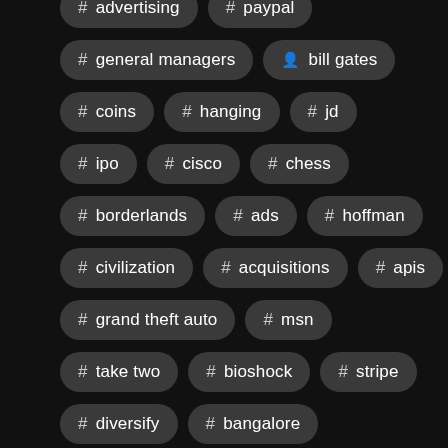# advertising
# paypal
# general managers
# bill gates
# coins
# hanging
# jd
# ipo
# cisco
# chess
# borderlands
# ads
# hoffman
# civilization
# acquisitions
# apis
# grand theft auto
# msn
# take two
# bioshock
# stripe
# diversify
# bangalore